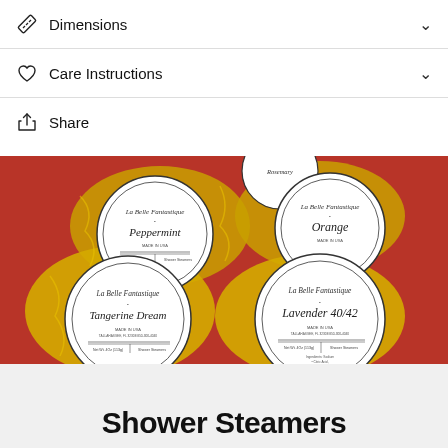Dimensions
Care Instructions
Share
[Figure (photo): Photo of multiple La Belle Fantastique shower steamers in gold foil packaging with circular labels showing scents: Peppermint, Rosemary, Orange, Tangerine Dream, Lavender 40/42]
Shower Steamers